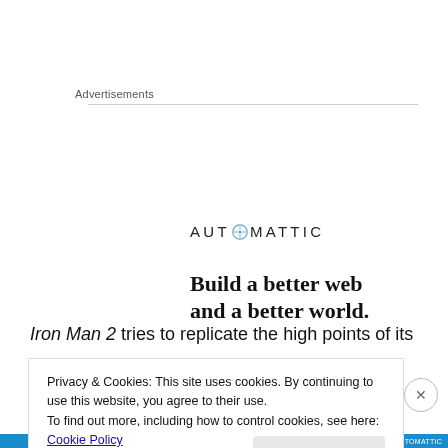Advertisements
[Figure (logo): Automattic advertisement banner with compass logo, brand name AUTOMATTIC, and tagline 'Build a better web and a better world.' with partial circular graphic at bottom right]
Iron Man 2 tries to replicate the high points of its
Privacy & Cookies: This site uses cookies. By continuing to use this website, you agree to their use.
To find out more, including how to control cookies, see here: Cookie Policy
Close and accept